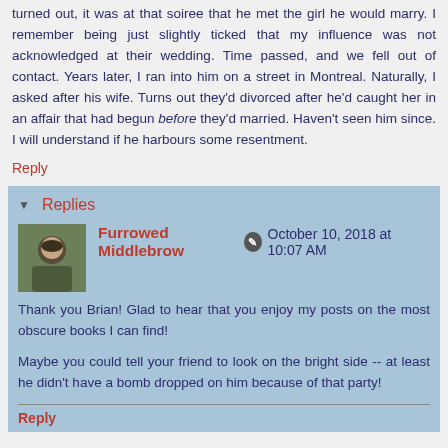turned out, it was at that soiree that he met the girl he would marry. I remember being just slightly ticked that my influence was not acknowledged at their wedding. Time passed, and we fell out of contact. Years later, I ran into him on a street in Montreal. Naturally, I asked after his wife. Turns out they'd divorced after he'd caught her in an affair that had begun before they'd married. Haven't seen him since. I will understand if he harbours some resentment.
Reply
Replies
Furrowed Middlebrow · October 10, 2018 at 10:07 AM
Thank you Brian! Glad to hear that you enjoy my posts on the most obscure books I can find!
Maybe you could tell your friend to look on the bright side -- at least he didn't have a bomb dropped on him because of that party!
Reply